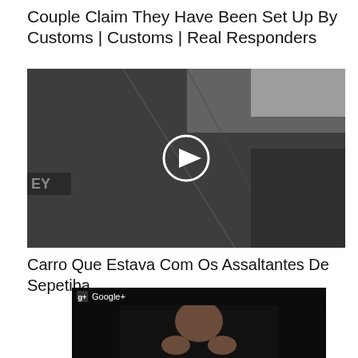Couple Claim They Have Been Set Up By Customs | Customs | Real Responders
[Figure (screenshot): Video thumbnail showing dark gray fabric/luggage interior with a circular play button overlay in the center]
Carro Que Estava Com Os Assaltantes De Sepetiba
[Figure (screenshot): Video thumbnail showing a dark-skinned man's face with fists raised, with a Google+ overlay bar at top]